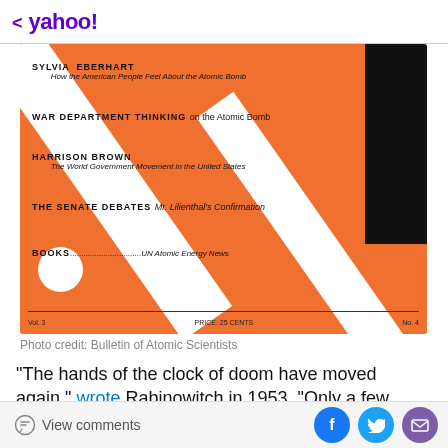< yahoo!
[Figure (photo): Orange Bulletin of Atomic Scientists magazine cover with white diagonal stripes, black rectangle on right, white circle bottom left. Text includes: SYLVIA EBERHART - How the American People Feel About the Atomic Bomb; WAR DEPARTMENT THINKING on the Atomic Bomb; HARRISON BROWN - The World Government Movement in the United States; THE SENATE DEBATES Mr. Lilienthal's Confirmation; BOOKS...UN Atomic Energy News. Footer: Vol. 3, PRICE: 25 CENTS, No. 4]
Photo credit: Bulletin of Atomic Scientists
"The hands of the clock of doom have moved again," wrote Rabinowitch in 1953. "Only a few more swings of